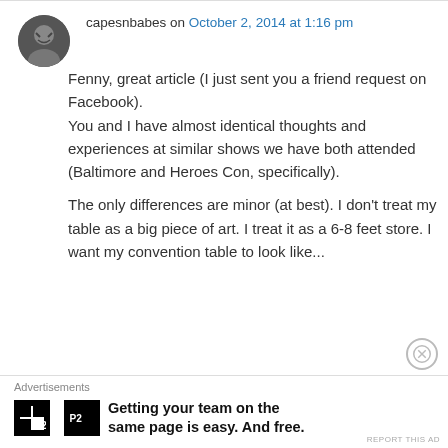capesnbabes on October 2, 2014 at 1:16 pm
Fenny, great article (I just sent you a friend request on Facebook).
You and I have almost identical thoughts and experiences at similar shows we have both attended (Baltimore and Heroes Con, specifically).

The only differences are minor (at best). I don't treat my table as a big piece of art. I treat it as a 6-8 feet store. I want my convention table to look like...
Advertisements
Getting your team on the same page is easy. And free.